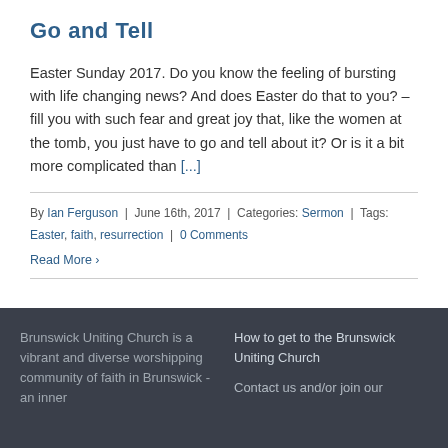Go and Tell
Easter Sunday 2017. Do you know the feeling of bursting with life changing news? And does Easter do that to you? – fill you with such fear and great joy that, like the women at the tomb, you just have to go and tell about it? Or is it a bit more complicated than [...]
By Ian Ferguson | June 16th, 2017 | Categories: Sermon | Tags: Easter, faith, resurrection | 0 Comments
Read More ›
Brunswick Uniting Church is a vibrant and diverse worshipping community of faith in Brunswick - an inner
How to get to the Brunswick Uniting Church

Contact us and/or join our